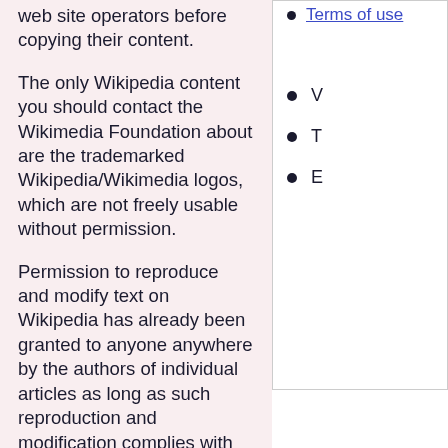web site operators before copying their content.
The only Wikipedia content you should contact the Wikimedia Foundation about are the trademarked Wikipedia/Wikimedia logos, which are not freely usable without permission.
Terms of use
V
T
E
Permission to reproduce and modify text on Wikipedia has already been granted to anyone anywhere by the authors of individual articles as long as such reproduction and modification complies with licensing terms (see below and Wikipedia:Mirrors and forks for specific